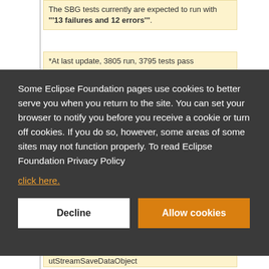The SBG tests currently are expected to run with '''13 failures and 12 errors'''.
*At last update, 3805 run, 3795 tests pass
Some Eclipse Foundation pages use cookies to better serve you when you return to the site. You can set your browser to notify you before you receive a cookie or turn off cookies. If you do so, however, some areas of some sites may not function properly. To read Eclipse Foundation Privacy Policy click here.
Decline
Allow cookies
utStreamSaveDataObject